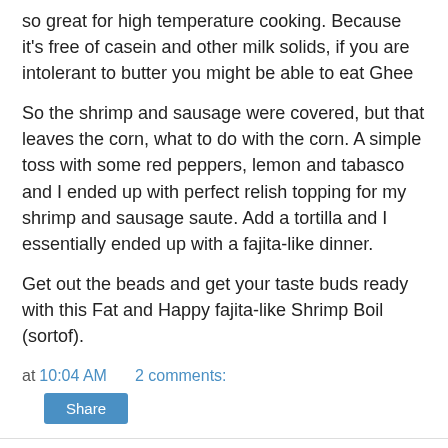so great for high temperature cooking. Because it's free of casein and other milk solids, if you are intolerant to butter you might be able to eat Ghee
So the shrimp and sausage were covered, but that leaves the corn, what to do with the corn. A simple toss with some red peppers, lemon and tabasco and I ended up with perfect relish topping for my shrimp and sausage saute. Add a tortilla and I essentially ended up with a fajita-like dinner.
Get out the beads and get your taste buds ready with this Fat and Happy fajita-like Shrimp Boil (sortof).
at 10:04 AM   2 comments:
Share
Saturday, February 22, 2014
Butternut Squash Apple Soup
[Figure (photo): Dark image partially visible at the bottom of the page]